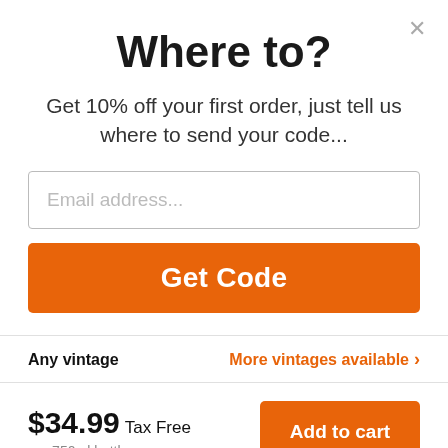Where to?
Get 10% off your first order, just tell us where to send your code...
Email address...
Get Code
Any vintage
More vintages available >
$34.99 Tax Free
per 750ml bottle
Add to cart